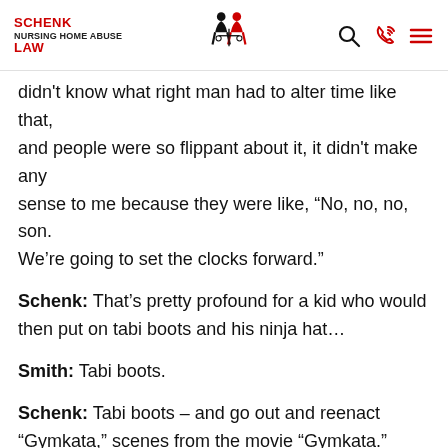SCHENK NURSING HOME ABUSE LAW
didn't know what right man had to alter time like that, and people were so flippant about it, it didn't make any sense to me because they were like, “No, no, no, son. We’re going to set the clocks forward.”
Schenk: That’s pretty profound for a kid who would then put on tabi boots and his ninja hat…
Smith: Tabi boots.
Schenk: Tabi boots – and go out and reenact “Gymkata,” scenes from the movie “Gymkata.”
Smith: Gymkata.
Schenk: But anyways, this is a special episode. Once